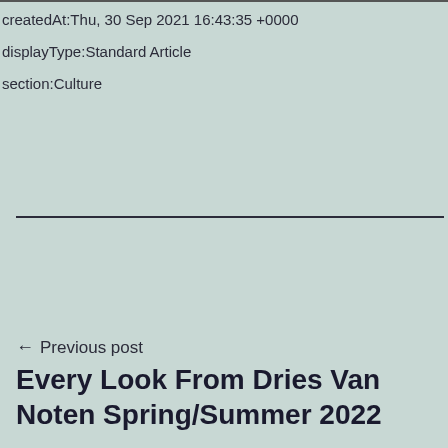createdAt:Thu, 30 Sep 2021 16:43:35 +0000
displayType:Standard Article
section:Culture
← Previous post
Every Look From Dries Van Noten Spring/Summer 2022